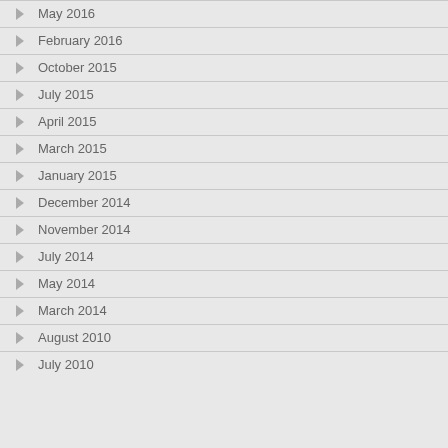May 2016
February 2016
October 2015
July 2015
April 2015
March 2015
January 2015
December 2014
November 2014
July 2014
May 2014
March 2014
August 2010
July 2010